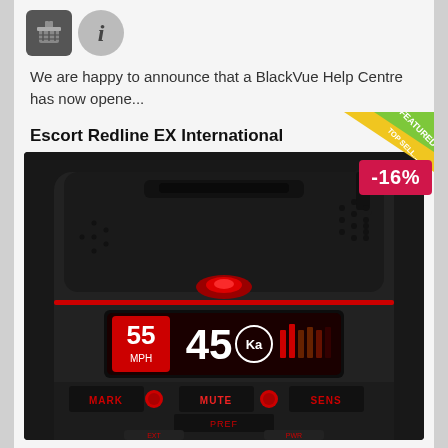[Figure (other): Two icon buttons: a shopping basket icon (dark grey square) and an info 'i' icon (grey circle)]
We are happy to announce that a BlackVue Help Centre has now opene...
Escort Redline EX International
[Figure (photo): Photo of the Escort Redline EX International radar detector, a black device with red LED display showing 55 MPH, 45, Ka band indicator, and control buttons MARK, MUTE, SENS, PREF, EXT, PWR. A yellow/green 'FEATURED TOP SELLER' corner ribbon and a red '-16%' discount badge overlay the top-right.]